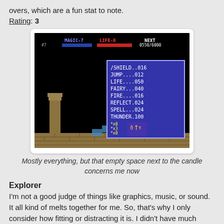overs, which are a fun stat to note.
Rating: 3
[Figure (screenshot): NES video game screenshot showing a magic/inventory menu with items: SHIELD..016, JUMP....012, LIFE....050, FAIRY...040, FIRE....016, REFLECT.024, SPELL...024, THUNDER.100. Top HUD shows MAGIC-7, LIFE-8, NEXT 0550/6000. Scene shows temple columns and a tiled floor with blue blocks.]
Mostly everything, but that empty space next to the candle concerns me now
Explorer
I'm not a good judge of things like graphics, music, or sound. It all kind of melts together for me. So, that's why I only consider how fitting or distracting it is. I didn't have much trouble navigating or recognizing anything, and the sound queues plus music were well established. However, there are some graphical glitches near edges of the screen, and not a lot of variety in the music.